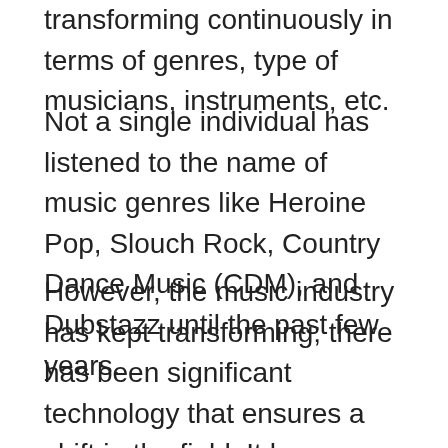transforming continuously in terms of genres, type of musicians, instruments, etc.
Not a single individual has listened to the name of music genres like Heroine Pop, Slouch Rock, Country Dance Music (CDM), and Dubstazz until the past few years.
However, the music industry has kept transforming; there has been significant technology that ensures a shift in the field. It has changed with the introduction of IoT in the streaming sector has given the concept of the